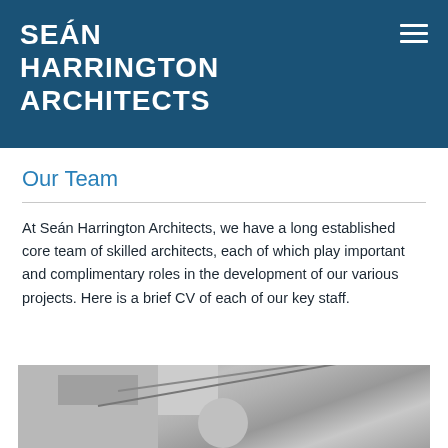SEÁN HARRINGTON ARCHITECTS
Our Team
At Seán Harrington Architects, we have a long established core team of skilled architects, each of which play important and complimentary roles in the development of our various projects. Here is a brief CV of each of our key staff.
[Figure (photo): Black and white photograph of an architect or person working, partially visible at the bottom of the page, with architectural elements in the background.]